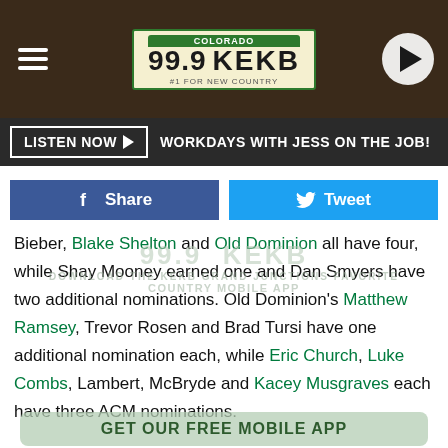[Figure (logo): 99.9 KEKB Colorado radio station header with wooden background, hamburger menu, station license plate logo, and play button]
[Figure (infographic): Listen Now button bar with dark background: LISTEN NOW ▶ WORKDAYS WITH JESS ON THE JOB!]
[Figure (infographic): Facebook Share button (blue) and Twitter Tweet button (cyan) side by side]
Bieber, Blake Shelton and Old Dominion all have four, while Shay Mooney earned one and Dan Smyers have two additional nominations. Old Dominion's Matthew Ramsey, Trevor Rosen and Brad Tursi have one additional nomination each, while Eric Church, Luke Combs, Lambert, McBryde and Kacey Musgraves each have three ACM nominations.
The Houston Rodeo, SXSW and Tin Pan South are among the other events that have been canceled or postponed due to the coronavirus outbreak, which the World Health Organization has classified as a pandemic, according to the